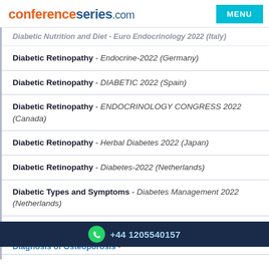conferenceseries.com | MENU
Diabetic Nutrition and Diet - Euro Endocrinology 2022 (Italy)
Diabetic Retinopathy - Endocrine-2022 (Germany)
Diabetic Retinopathy - DIABETIC 2022 (Spain)
Diabetic Retinopathy - ENDOCRINOLOGY CONGRESS 2022 (Canada)
Diabetic Retinopathy - Herbal Diabetes 2022 (Japan)
Diabetic Retinopathy - Diabetes-2022 (Netherlands)
Diabetic Types and Symptoms - Diabetes Management 2022 (Netherlands)
Diabetics complications - Diabetes Management 2022
+44 1205540157
Diagnosis of Osteoporosis - ...